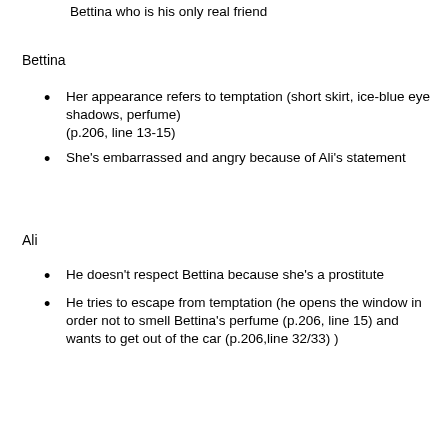Bettina who is his only real friend
Bettina
Her appearance refers to temptation (short skirt, ice-blue eye shadows, perfume) (p.206, line 13-15)
She's embarrassed and angry because of Ali's statement
Ali
He doesn't respect Bettina because she's a prostitute
He tries to escape from temptation (he opens the window in order not to smell Bettina's perfume (p.206, line 15) and wants to get out of the car (p.206,line 32/33) )